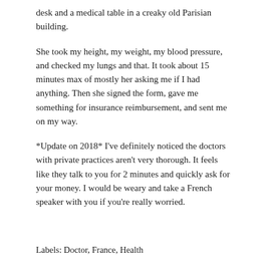desk and a medical table in a creaky old Parisian building.
She took my height, my weight, my blood pressure, and checked my lungs and that. It took about 15 minutes max of mostly her asking me if I had anything. Then she signed the form, gave me something for insurance reimbursement, and sent me on my way.
*Update on 2018* I've definitely noticed the doctors with private practices aren't very thorough. It feels like they talk to you for 2 minutes and quickly ask for your money. I would be weary and take a French speaker with you if you're really worried.
Labels: Doctor, France, Health